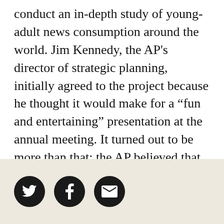conduct an in-depth study of young-adult news consumption around the world. Jim Kennedy, the AP's director of strategic planning, initially agreed to the project because he thought it would make for a “fun and entertaining” presentation at the annual meeting. It turned out to be more than that; the AP believed that the results held fundamental implications for the role of the news media in the digital age. Chief among the findings was that many young consumers craved more in-depth news but were unable or unwilling to get it. “The abundance of news and ubiquity of choice do not necessarily
[Figure (other): Three circular social media share buttons on a beige/tan background: Twitter (bird icon), Facebook (f icon), and Email (envelope icon)]